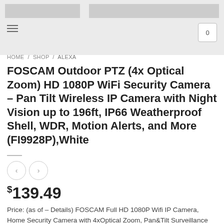[Figure (screenshot): Website header bar with logo placeholder, navigation blocks, hamburger menu icon, and cart icon showing 0]
HOME / SHOP / ALEXA
FOSCAM Outdoor PTZ (4x Optical Zoom) HD 1080P WiFi Security Camera – Pan Tilt Wireless IP Camera with Night Vision up to 196ft, IP66 Weatherproof Shell, WDR, Motion Alerts, and More (FI9928P),White
$139.49
Price: (as of – Details) FOSCAM Full HD 1080P Wifi IP Camera, Home Security Camera with 4xOptical Zoom, Pan&Tilt Surveillance Syetem with with Enhanced Night